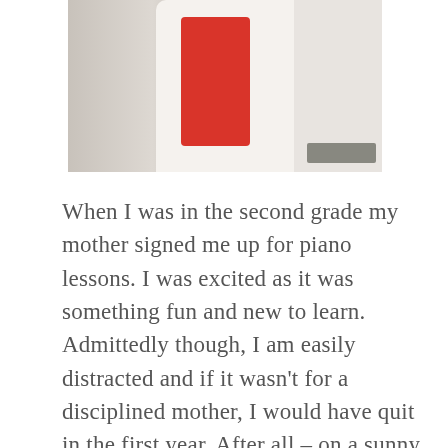[Figure (photo): A person wearing a white jacket with a red element, seated or standing near a curtained background with a table visible at the right edge.]
When I was in the second grade my mother signed me up for piano lessons. I was excited as it was something fun and new to learn. Admittedly though, I am easily distracted and if it wasn't for a disciplined mother, I would have quit in the first year. After all – on a sunny day the last thing I wanted to do was practice piano after school when I could bike over to a friend's house to